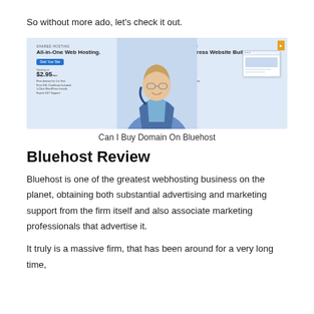So without more ado, let's check it out.
[Figure (screenshot): Bluehost website screenshot showing two panels: left panel with 'All-in-One Web Hosting.' and starting at $2.95/mo, right panel with 'Easy WordPress Website Builder.' and starting at $2.95/mo, with a smiling person in the center.]
Can I Buy Domain On Bluehost
Bluehost Review
Bluehost is one of the greatest webhosting business on the planet, obtaining both substantial advertising and marketing support from the firm itself and also associate marketing professionals that advertise it.
It truly is a massive firm, that has been around for a very long time,